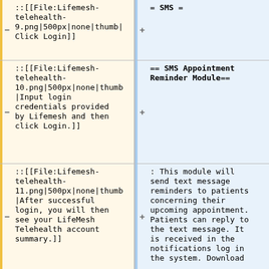::[[File:Lifemesh-telehealth-9.png|500px|none|thumb|Click Login]]
= SMS =
::[[File:Lifemesh-telehealth-10.png|500px|none|thumb|Input login credentials provided by Lifemesh and then click Login.]]
== SMS Appointment Reminder Module==
::[[File:Lifemesh-telehealth-11.png|500px|none|thumb|After successful login, you will then see your LifeMesh Telehealth account summary.]]
: This module will send text message reminders to patients concerning their upcoming appointment. Patients can reply to the text message. It is received in the notifications log in the system. Download